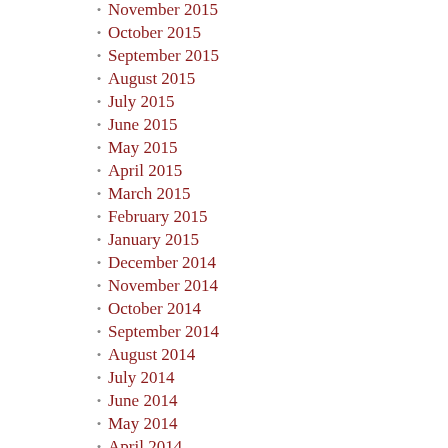November 2015
October 2015
September 2015
August 2015
July 2015
June 2015
May 2015
April 2015
March 2015
February 2015
January 2015
December 2014
November 2014
October 2014
September 2014
August 2014
July 2014
June 2014
May 2014
April 2014
March 2014
February 2014
January 2014